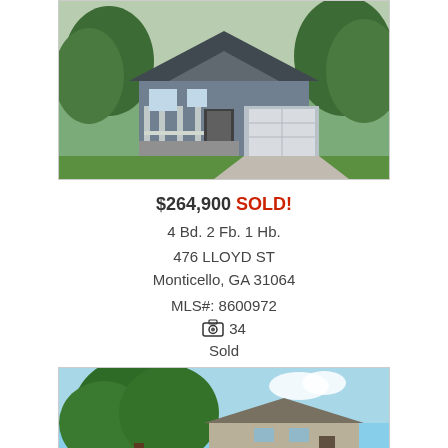[Figure (photo): Exterior photo of a gray/blue craftsman-style house with white garage door, porch with white railing, surrounded by trees and green lawn]
$264,900 SOLD!
4 Bd. 2 Fb. 1 Hb.
476 LLOYD ST
Monticello, GA 31064
MLS#: 8600972
📷 34
Sold
[Figure (photo): Exterior photo of a house partially obscured by large trees and green foliage, appears to be a tan/gray ranch-style home]